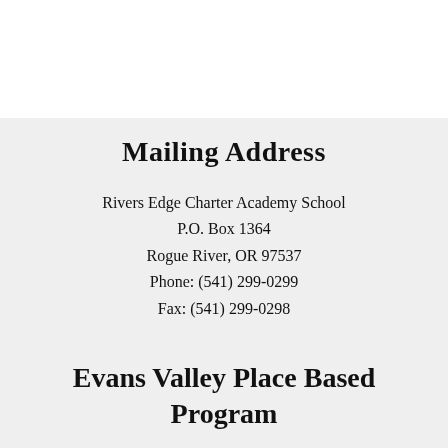Mailing Address
Rivers Edge Charter Academy School
P.O. Box 1364
Rogue River, OR 97537
Phone: (541) 299-0299
Fax: (541) 299-0298
Evans Valley Place Based Program